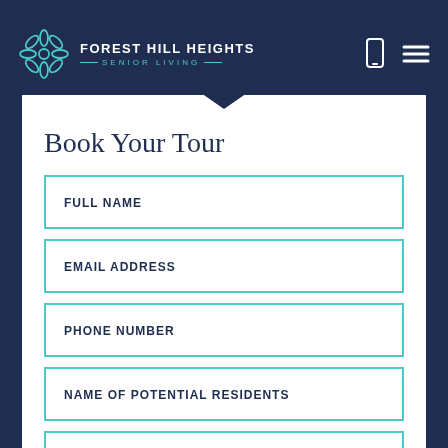FOREST HILL HEIGHTS SENIOR LIVING
Book Your Tour
FULL NAME
EMAIL ADDRESS
PHONE NUMBER
NAME OF POTENTIAL RESIDENTS